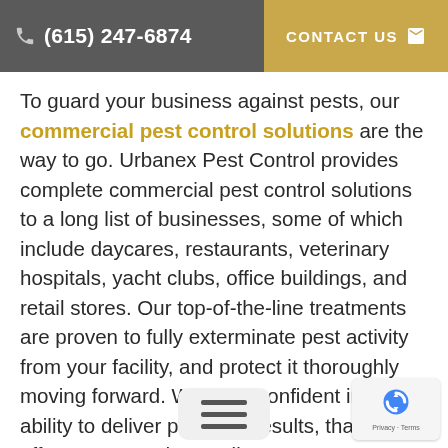(615) 247-6874   CONTACT US
To guard your business against pests, our commercial pest control solutions are the way to go. Urbanex Pest Control provides complete commercial pest control solutions to a long list of businesses, some of which include daycares, restaurants, veterinary hospitals, yacht clubs, office buildings, and retail stores. Our top-of-the-line treatments are proven to fully exterminate pest activity from your facility, and protect it thoroughly moving forward. We’re so confident in our ability to deliver pest-free results, that we offer guaranteed, complimentary re-treatment should a pest prob[lem] return between service v[isits].